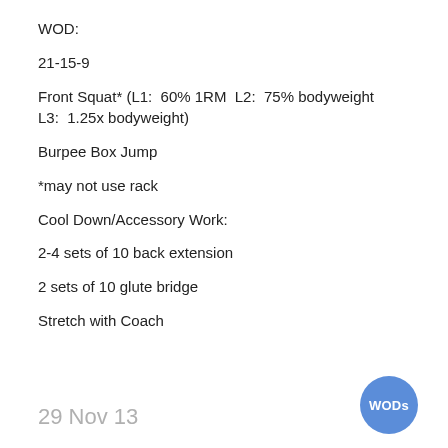WOD:
21-15-9
Front Squat* (L1:  60% 1RM  L2:  75% bodyweight   L3:  1.25x bodyweight)
Burpee Box Jump
*may not use rack
Cool Down/Accessory Work:
2-4 sets of 10 back extension
2 sets of 10 glute bridge
Stretch with Coach
29 Nov 13